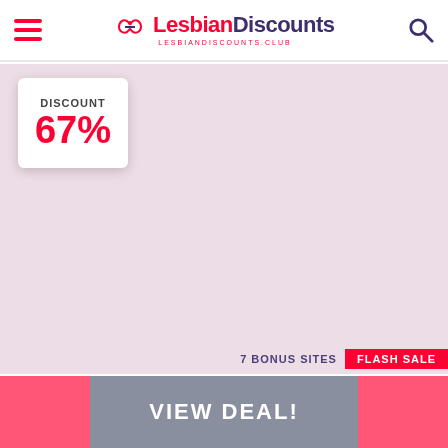LesbianDiscounts — LESBIANDISCOUNTS.CLUB
[Figure (screenshot): Pink/mauve promotional background image area for Girlsway]
DISCOUNT 67%
7 BONUS SITES   FLASH SALE
Girlsway   $9.95   $29.95
$20 discount to a site showing the girls way of loving
VIEW DEAL!